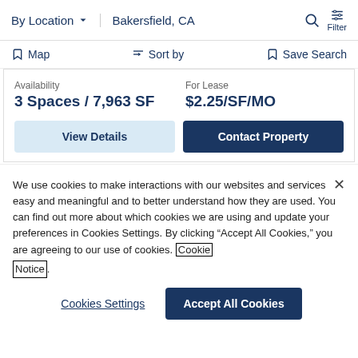By Location  Bakersfield, CA  Filter
Map  Sort by  Save Search
Availability
3 Spaces / 7,963 SF
For Lease
$2.25/SF/MO
View Details   Contact Property
We use cookies to make interactions with our websites and services easy and meaningful and to better understand how they are used. You can find out more about which cookies we are using and update your preferences in Cookies Settings. By clicking "Accept All Cookies," you are agreeing to our use of cookies. Cookie Notice
Cookies Settings   Accept All Cookies